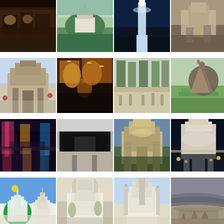[Figure (photo): Row 1, Col 1: People seated at tables in a dim restaurant interior]
[Figure (photo): Row 1, Col 2: Scenic pavilion on a calm green lake surrounded by trees]
[Figure (photo): Row 1, Col 3: Illuminated white tower/column at night with blue sky]
[Figure (photo): Row 1, Col 4: Stone archway/gate structure on rocky terrain]
[Figure (photo): Row 2, Col 1: Traditional Chinese temple gate with red lanterns]
[Figure (photo): Row 2, Col 2: Richly decorated temple interior with golden statues]
[Figure (photo): Row 2, Col 3: Tree-lined plaza with people walking and exercising]
[Figure (photo): Row 2, Col 4: Bronze horse statue monument in a park]
[Figure (photo): Row 3, Col 1: Colorful neon-lit canal street at night]
[Figure (photo): Row 3, Col 2: Modern angular building with red and dark facade]
[Figure (photo): Row 3, Col 3: Traditional Japanese castle with dramatic cloudy sky]
[Figure (photo): Row 3, Col 4: Universal Studios globe sign at night with crowds]
[Figure (photo): Row 4, Col 1: Mosque with green dome and golden minaret under blue sky]
[Figure (photo): Row 4, Col 2: White mosque with minarets and palm trees]
[Figure (photo): Row 4, Col 3: White mosque with tall minaret against blue sky]
[Figure (photo): Row 4, Col 4: Rocky mountain hillside with pilgrims/crowd gathered below]